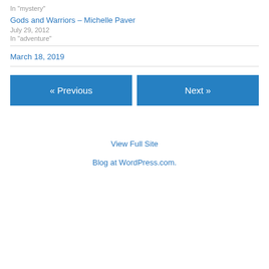In "mystery"
Gods and Warriors – Michelle Paver
July 29, 2012
In "adventure"
March 18, 2019
« Previous
Next »
View Full Site
Blog at WordPress.com.